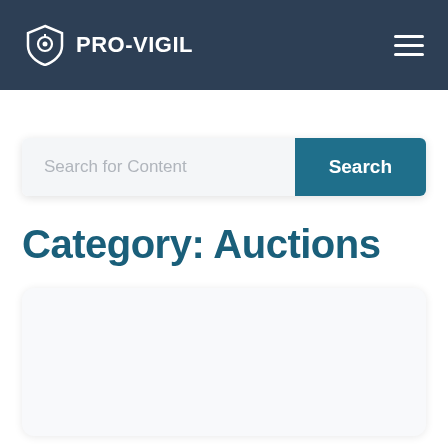PRO-VIGIL
[Figure (screenshot): Search bar with placeholder text 'Search for Content' and a teal 'Search' button]
Category: Auctions
[Figure (other): White card/article preview box at the bottom of the page]